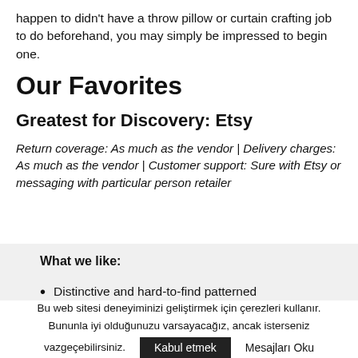happen to didn't have a throw pillow or curtain crafting job to do beforehand, you may simply be impressed to begin one.
Our Favorites
Greatest for Discovery: Etsy
Return coverage: As much as the vendor | Delivery charges: As much as the vendor | Customer support: Sure with Etsy or messaging with particular person retailer
What we like:
Distinctive and hard-to-find patterned
Bu web sitesi deneyiminizi geliştirmek için çerezleri kullanır. Bununla iyi olduğunuzu varsayacağız, ancak isterseniz vazgeçebilirsiniz. Kabul etmek Mesajları Oku